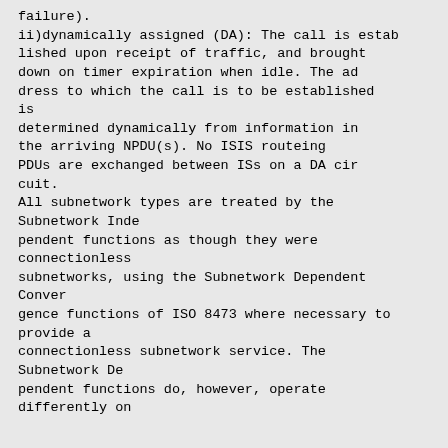failure).
ii)dynamically assigned (DA): The call is estab
lished upon receipt of traffic, and brought
down on timer expiration when idle. The ad
dress to which the call is to be established
is
determined dynamically from information in
the arriving NPDU(s). No ISIS routeing
PDUs are exchanged between ISs on a DA cir
cuit.
All subnetwork types are treated by the
Subnetwork Inde
pendent functions as though they were
connectionless
subnetworks, using the Subnetwork Dependent
Conver
gence functions of ISO 8473 where necessary to
provide a
connectionless subnetwork service. The
Subnetwork De
pendent functions do, however, operate
differently on